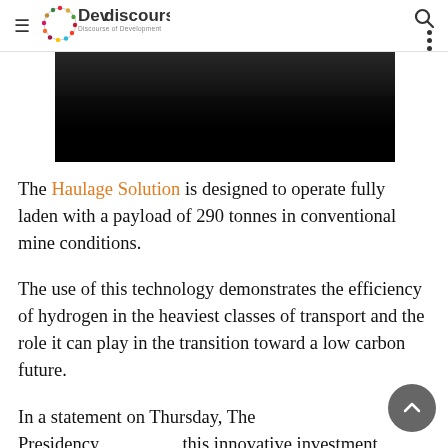Devdiscourse — Discourse of Development
[Figure (photo): Dark/black image, appears to be a mine or industrial vehicle scene, mostly black]
The Haulage Solution is designed to operate fully laden with a payload of 290 tonnes in conventional mine conditions.
The use of this technology demonstrates the efficiency of hydrogen in the heaviest classes of transport and the role it can play in the transition toward a low carbon future.
In a statement on Thursday, The Presidency this innovative investment fulfills part of the pledges